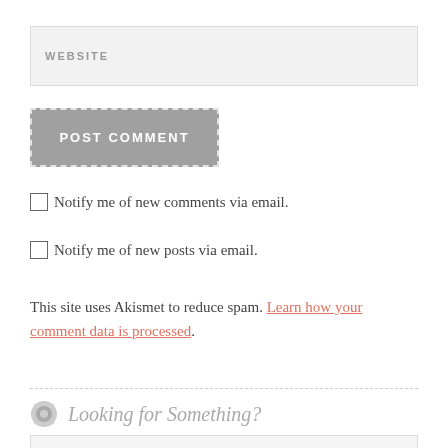WEBSITE
POST COMMENT
Notify me of new comments via email.
Notify me of new posts via email.
This site uses Akismet to reduce spam. Learn how your comment data is processed.
Looking for Something?